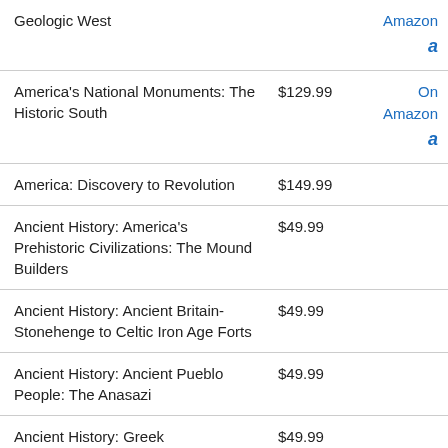| Title | Price | Link |
| --- | --- | --- |
| Geologic West |  | Amazon a |
| America's National Monuments: The Historic South | $129.99 | On Amazon a |
| America: Discovery to Revolution | $149.99 |  |
| Ancient History: America's Prehistoric Civilizations: The Mound Builders | $49.99 |  |
| Ancient History: Ancient Britain- Stonehenge to Celtic Iron Age Forts | $49.99 |  |
| Ancient History: Ancient Pueblo People: The Anasazi | $49.99 |  |
| Ancient History: Greek Accomplishments | $49.99 |  |
| Ancient History: Rome Reexamined | $99.99 | On Amazon a |